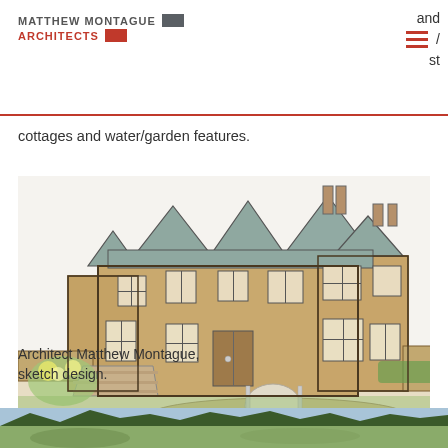MATTHEW MONTAGUE ARCHITECTS
and / st
cottages and water/garden features.
[Figure (illustration): Watercolour sketch design of a large traditional stone manor house with multiple gabled roofs, chimneys, multi-pane windows, stone walls, garden landscaping and a driveway. Drawn by Architect Matthew Montague.]
Architect Matthew Montague, sketch design.
[Figure (photo): Partial view of a landscape photograph showing trees and hills at the bottom of the page.]